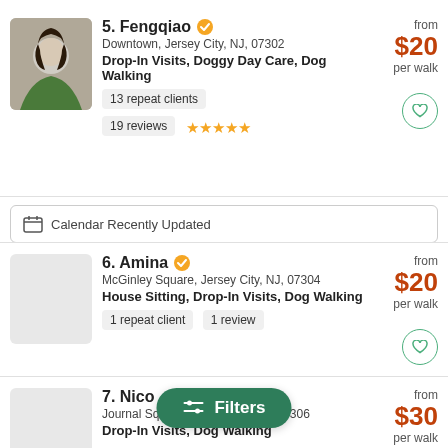5. Fengqiao — Downtown, Jersey City, NJ, 07302 | Drop-In Visits, Doggy Day Care, Dog Walking | 13 repeat clients | 19 reviews ★★★★★ | from $20 per walk
Calendar Recently Updated
6. Amina — McGinley Square, Jersey City, NJ, 07304 | House Sitting, Drop-In Visits, Dog Walking | 1 repeat client | 1 review | from $20 per walk
7. Nico — Journal Square, Jersey City, NJ, 07306 | Drop-In Visits, Dog Walking | from $30 per walk
Filters